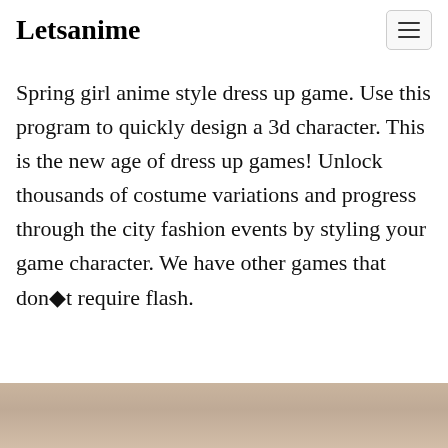Letsanime
Spring girl anime style dress up game. Use this program to quickly design a 3d character. This is the new age of dress up games! Unlock thousands of costume variations and progress through the city fashion events by styling your game character. We have other games that don�t require flash.
[Figure (photo): Partial photo visible at the bottom of the page, showing what appears to be a light-colored background with soft tones.]